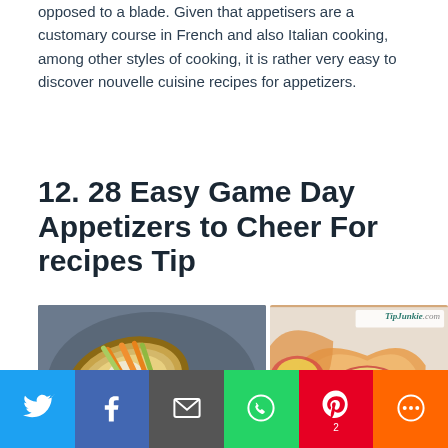opposed to a blade. Given that appetisers are a customary course in French and also Italian cooking, among other styles of cooking, it is rather very easy to discover nouvelle cuisine recipes for appetizers.
12. 28 Easy Game Day Appetizers to Cheer For recipes Tip
[Figure (photo): Two food photos side by side: left shows potato skins with carrot and celery sticks on a dark plate; right shows cheesy appetizer cups with a TipJunkie.com watermark]
Twitter share | Facebook share | Email | WhatsApp | Pinterest (2) | More